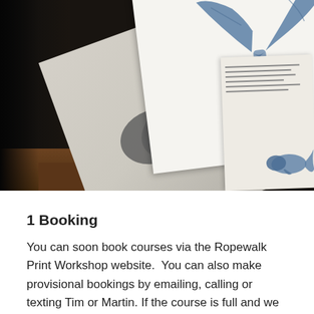[Figure (photo): Overhead view of art prints on a wooden surface. A large sheet of paper with a pencil drawing of a whale (beluga/sperm whale) is partially overlapped by a white sheet showing a blue illustrated whale tail. Another document with small blue whale illustrations is visible to the right.]
1 Booking
You can soon book courses via the Ropewalk Print Workshop website.  You can also make provisional bookings by emailing, calling or texting Tim or Martin. If the course is full and we are unable to offer you a